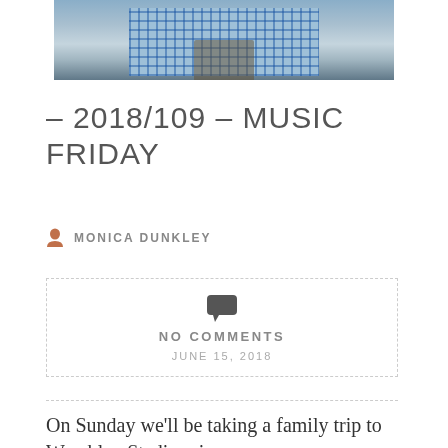[Figure (photo): Partial photo of a person wearing a blue plaid shirt with a brown strap, cropped at the top of the page]
– 2018/109 – MUSIC FRIDAY
MONICA DUNKLEY
NO COMMENTS
JUNE 15, 2018
On Sunday we'll be taking a family trip to Wembley Stadium in